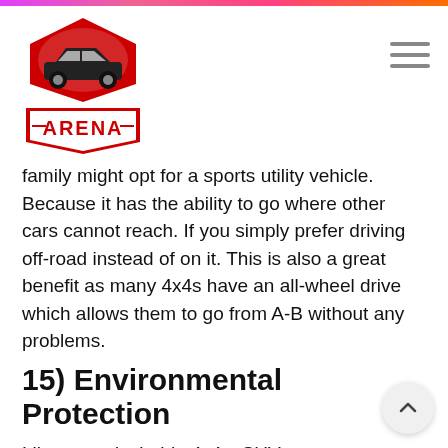[Figure (logo): Arena auto logo — red house/shield shape with a classic muscle car silhouette on top, and 'ARENA' text badge below in red on white with red border]
family might opt for a sports utility vehicle. Because it has the ability to go where other cars cannot reach. If you simply prefer driving off-road instead of on it. This is also a great benefit as many 4x4s have an all-wheel drive which allows them to go from A-B without any problems.
15) Environmental Protection
Like most desirable 4x4s, SUVs are very popular with environmentalists. They often frequent nature reserves and national parks in order to help maintain